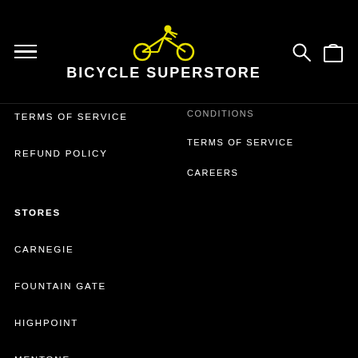[Figure (logo): Bicycle Superstore logo with yellow cyclist icon and white bold text]
TERMS OF SERVICE
REFUND POLICY
CONDITIONS (truncated, partially visible)
TERMS OF SERVICE
CAREERS
STORES
CARNEGIE
FOUNTAIN GATE
HIGHPOINT
MENTONE
MORNINGTON
MY RIDE GEELONG
NUNAWADING